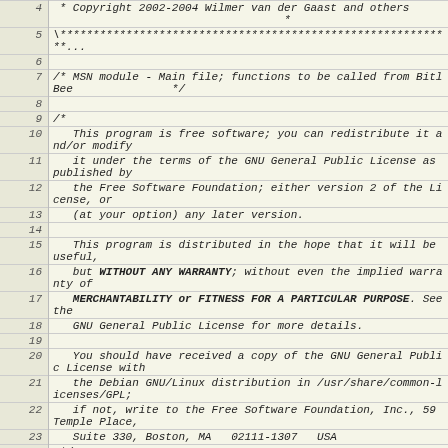Source code listing with line numbers 4-25, showing copyright notice and GPL license header for MSN module BitlBee
| Line | Code |
| --- | --- |
| 4 |  * Copyright 2002-2004 Wilmer van der Gaast and others
 * |
| 5 | \************************************************************... |
| 6 |  |
| 7 | /* MSN module - Main file; functions to be called from BitlBee         */ |
| 8 |  |
| 9 | /* |
| 10 |    This program is free software; you can redistribute it and/or modify |
| 11 |    it under the terms of the GNU General Public License as published by |
| 12 |    the Free Software Foundation; either version 2 of the License, or |
| 13 |    (at your option) any later version. |
| 14 |  |
| 15 |    This program is distributed in the hope that it will be useful, |
| 16 |    but WITHOUT ANY WARRANTY; without even the implied warranty of |
| 17 |    MERCHANTABILITY or FITNESS FOR A PARTICULAR PURPOSE. See the |
| 18 |    GNU General Public License for more details. |
| 19 |  |
| 20 |    You should have received a copy of the GNU General Public License with |
| 21 |    the Debian GNU/Linux distribution in /usr/share/common-licenses/GPL; |
| 22 |    if not, write to the Free Software Foundation, Inc., 59 Temple Place, |
| 23 |    Suite 330, Boston, MA  02111-1307  USA |
| 24 |  */ |
| 25 |  |